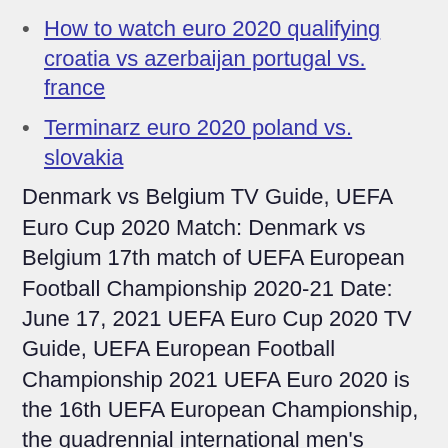How to watch euro 2020 qualifying croatia vs azerbaijan portugal vs. france
Terminarz euro 2020 poland vs. slovakia
Denmark vs Belgium TV Guide, UEFA Euro Cup 2020 Match: Denmark vs Belgium 17th match of UEFA European Football Championship 2020-21 Date: June 17, 2021 UEFA Euro Cup 2020 TV Guide, UEFA European Football Championship 2021 UEFA Euro 2020 is the 16th UEFA European Championship, the quadrennial international men's football championship of Europe organised by the [...] In the Group B Fixtures of the Euro 2021 Denmark takes on Belgium. As per Fixtures this Match 16 of the Denmark vs Belgium Euro Cup will be schedule to starts from the 18-00 Local time at Parken Stadium, Copenhagen on 17th June 2021.